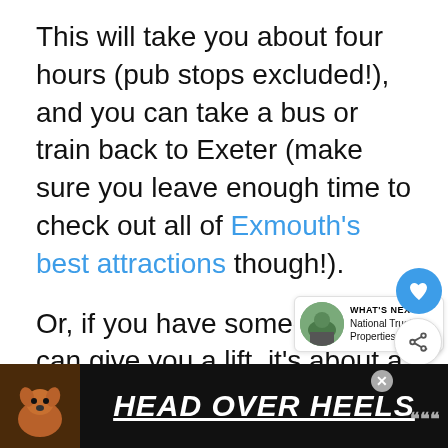This will take you about four hours (pub stops excluded!), and you can take a bus or train back to Exeter (make sure you leave enough time to check out all of Exmouth's best attractions though!).
Or, if you have someone who can give you a lift, it's about a 20-minute drive back to the city (depending on traffic).
This is a popular walk with locals, not that many tourists know about it!
[Figure (screenshot): Ad banner at the bottom with a dog image and text 'HEAD OVER HEELS' in large white italic underlined font on dark background]